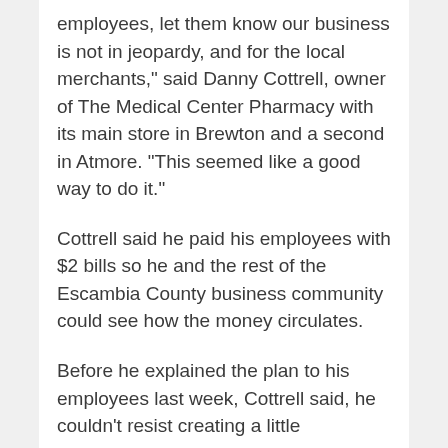employees, let them know our business is not in jeopardy, and for the local merchants," said Danny Cottrell, owner of The Medical Center Pharmacy with its main store in Brewton and a second in Atmore. "This seemed like a good way to do it."
Cottrell said he paid his employees with $2 bills so he and the rest of the Escambia County business community could see how the money circulates.
Before he explained the plan to his employees last week, Cottrell said, he couldn't resist creating a little suspense.
"Times are hard," he said, "and the downturn has hit us some. Employees start